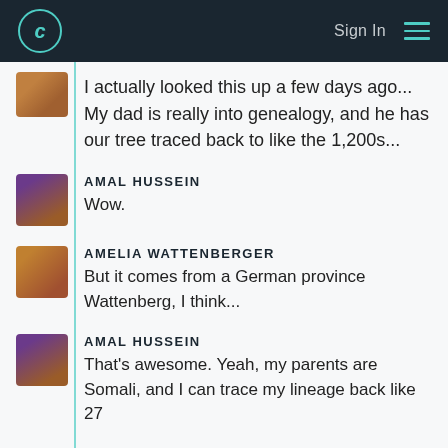C  Sign In ≡
I actually looked this up a few days ago... My dad is really into genealogy, and he has our tree traced back to like the 1,200s...
AMAL HUSSEIN
Wow.
AMELIA WATTENBERGER
But it comes from a German province Wattenberg, I think...
AMAL HUSSEIN
That's awesome. Yeah, my parents are Somali, and I can trace my lineage back like 27